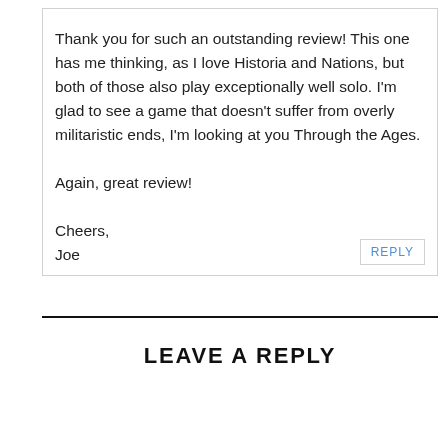Thank you for such an outstanding review! This one has me thinking, as I love Historia and Nations, but both of those also play exceptionally well solo. I'm glad to see a game that doesn't suffer from overly militaristic ends, I'm looking at you Through the Ages.

Again, great review!

Cheers,
Joe
REPLY
LEAVE A REPLY